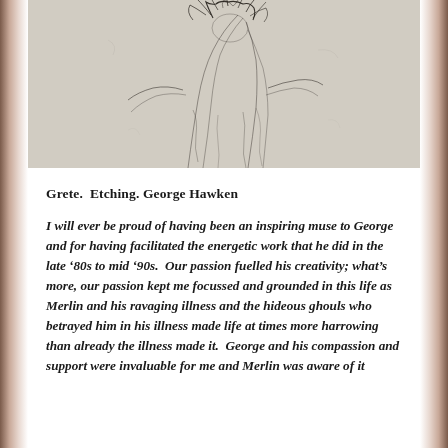[Figure (illustration): A pencil or etching sketch of a figure (Grete) with expressive dark hair and loose clothing, rendered in fine lines typical of an etching.]
Grete.  Etching. George Hawken
I will ever be proud of having been an inspiring muse to George and for having facilitated the energetic work that he did in the late ‘80s to mid ‘90s.  Our passion fuelled his creativity; what’s more, our passion kept me focussed and grounded in this life as Merlin and his ravaging illness and the hideous ghouls who betrayed him in his illness made life at times more harrowing than already the illness made it.  George and his compassion and support were invaluable for me and Merlin was aware of it